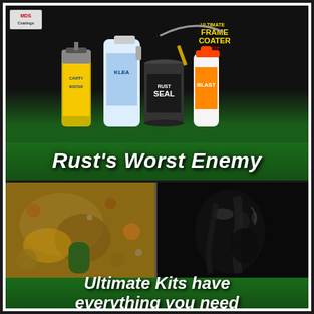[Figure (photo): MDS Coatings logo in top left corner, red and white text in small rectangular box]
[Figure (photo): Ultimate Frame Coater Kit product photo showing multiple products: Cavity Booter spray can (yellow label), Klea cleaner (blue label, large jug), Rust Seal can (paint can with brush, black label), and Blast bottle (orange cap), with 'Ultimate Frame Coater Kit' text in red/yellow]
Rust's Worst Enemy
[Figure (photo): Before and after photo comparison: left side shows severely rusted metal surface with visible corrosion, holes and scaling; right side shows the same area treated and coated with glossy black RustSeal coating]
Ultimate Kits have everything you need